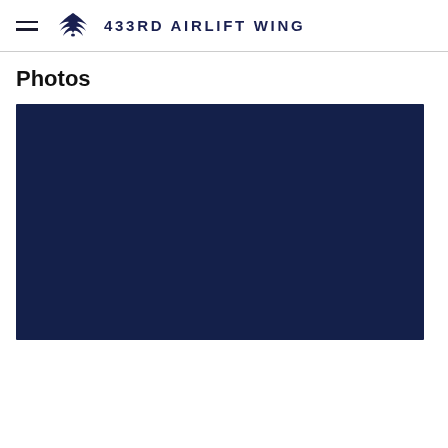433RD AIRLIFT WING
Photos
[Figure (photo): Dark navy blue rectangular photo placeholder image for the 433rd Airlift Wing website photos section]